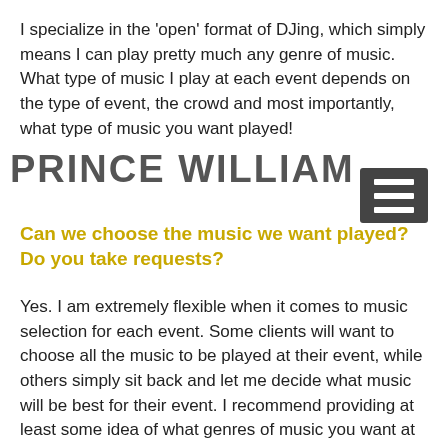I specialize in the 'open' format of DJing, which simply means I can play pretty much any genre of music. What type of music I play at each event depends on the type of event, the crowd and most importantly, what type of music you want played!
[Figure (logo): Prince William DJ logo text in bold gray uppercase letters with a hamburger menu icon overlay]
Can we choose the music we want played? Do you take requests?
Yes. I am extremely flexible when it comes to music selection for each event. Some clients will want to choose all the music to be played at their event, while others simply sit back and let me decide what music will be best for their event. I recommend providing at least some idea of what genres of music you want at your event. I am also open to requests from your guests. The goal is to make your guests happy as well. However, you can also ask that I do not take requests from your guests. You and